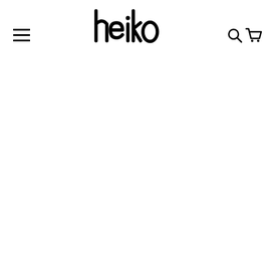[Figure (logo): Heiko Clothing brand logo — stylized handwritten 'heiko' in bold black lettering with 'CLOTHING' in spaced capitals arranged in an arc below]
[Figure (other): Hamburger menu icon — three horizontal black lines stacked vertically on the left side of the header]
[Figure (other): Search icon — magnifying glass outline in black, top right of header]
[Figure (other): Shopping cart icon — black outline cart, top right of header next to search icon]